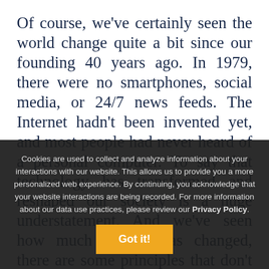Of course, we've certainly seen the world change quite a bit since our founding 40 years ago. In 1979, there were no smartphones, social media, or 24/7 news feeds. The Internet hadn't been invented yet, and most people had never heard of a personal computer. To say that technology has transformed and reshaped our society is a huge understatement. And we've seen how much society has changed, there are some principles that don't change – one of them is that thankfulness is an important spiritual practice. Thankfulness
Cookies are used to collect and analyze information about your interactions with our website. This allows us to provide you a more personalized web experience. By continuing, you acknowledge that your website interactions are being recorded. For more information about our data use practices, please review our Privacy Policy.